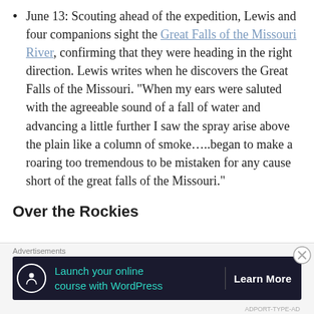June 13: Scouting ahead of the expedition, Lewis and four companions sight the Great Falls of the Missouri River, confirming that they were heading in the right direction. Lewis writes when he discovers the Great Falls of the Missouri. “When my ears were saluted with the agreeable sound of a fall of water and advancing a little further I saw the spray arise above the plain like a column of smoke…..began to make a roaring too tremendous to be mistaken for any cause short of the great falls of the Missouri.”
Over the Rockies
[Figure (other): Advertisement banner: 'Launch your online course with WordPress' with a Learn More button, on a dark background with a tree/person icon.]